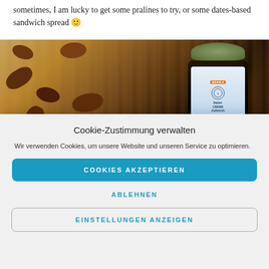sometimes, I am lucky to get some pralines to try, or some dates-based sandwich spread 🙂
[Figure (photo): Photo of a jar of dates-based sandwich spread (brand: Sekka) surrounded by dates and almonds on a wooden surface. The jar has a green lid and a blue/white label.]
Cookie-Zustimmung verwalten
Wir verwenden Cookies, um unsere Website und unseren Service zu optimieren.
COOKIES AKZEPTIEREN
ABLEHNEN
EINSTELLUNGEN ANZEIGEN